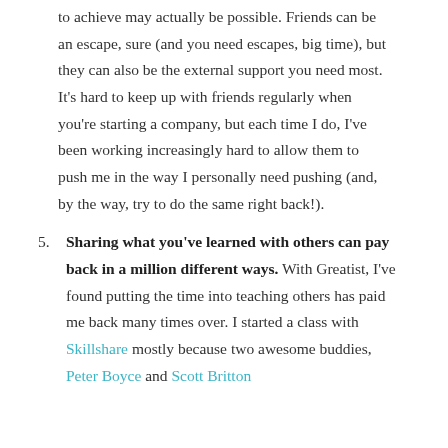to achieve may actually be possible. Friends can be an escape, sure (and you need escapes, big time), but they can also be the external support you need most. It's hard to keep up with friends regularly when you're starting a company, but each time I do, I've been working increasingly hard to allow them to push me in the way I personally need pushing (and, by the way, try to do the same right back!).
5. Sharing what you've learned with others can pay back in a million different ways. With Greatist, I've found putting the time into teaching others has paid me back many times over. I started a class with Skillshare mostly because two awesome buddies, Peter Boyce and Scott Britton